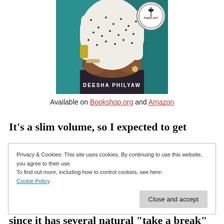[Figure (photo): Book cover photo showing Deesha Philyaw seated, wearing a white polka-dot shirt, with a teal background. A circular badge in the top right reads 'Finalist'. Author name 'DEESHA PHILYAW' appears at the bottom of the cover.]
Available on Bookshop.org and Amazon
It's a slim volume, so I expected to get
Privacy & Cookies: This site uses cookies. By continuing to use this website, you agree to their use.
To find out more, including how to control cookies, see here:
Cookie Policy

Close and accept
since it has several natural "take a break"